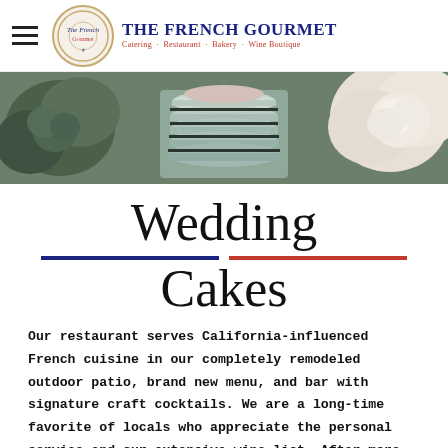The French Gourmet — Catering · Restaurant · Bakery · Wine Boutique
[Figure (photo): Close-up photo of stacked macarons with floral decorations in sage green, blush pink, and cream tones]
Wedding Cakes
Our restaurant serves California-influenced French cuisine in our completely remodeled outdoor patio, brand new menu, and bar with signature craft cocktails. We are a long-time favorite of locals who appreciate the personal service and our extensive wine list. After more than four decades of serving our clients, it is as much an honor and a privilege, as it is a reassurance to